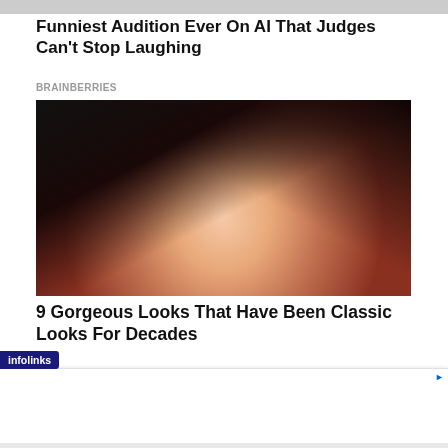[Figure (photo): Partial cropped image strip at top of page]
Funniest Audition Ever On AI That Judges Can't Stop Laughing
BRAINBERRIES
[Figure (photo): Close-up portrait photo of a young woman with dark hair, dramatic eye makeup with winged liner, pink lips, and gold earrings]
9 Gorgeous Looks That Have Been Classic Looks For Decades
infolinks
Explore Our Gifts & More
Personalized Gifts - Spa Baskets - Get Sets
www.1800flowers.com